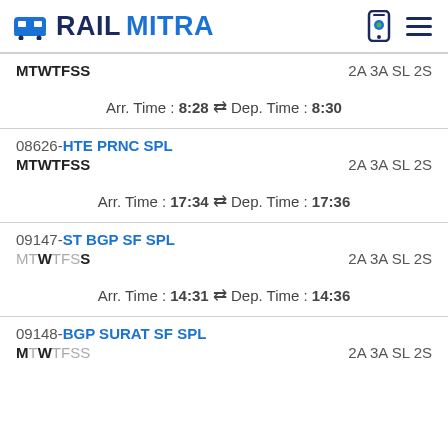RAILMITRA
MTWTFSS  2A 3A SL 2S
Arr. Time : 8:28 ⇌ Dep. Time : 8:30
08626-HTE PRNC SPL
MTWTFSS  2A 3A SL 2S
Arr. Time : 17:34 ⇌ Dep. Time : 17:36
09147-ST BGP SF SPL
MTWTFSS  2A 3A SL 2S
Arr. Time : 14:31 ⇌ Dep. Time : 14:36
09148-BGP SURAT SF SPL
MTWSS  2A 3A SL 2S